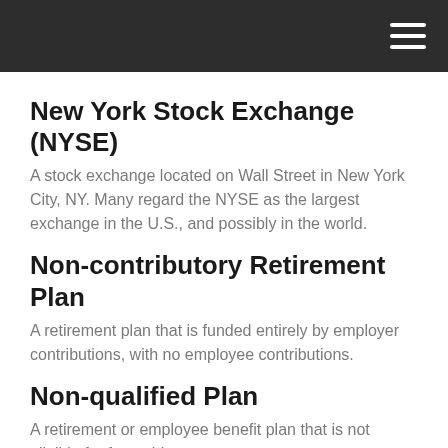New York Stock Exchange (NYSE)
A stock exchange located on Wall Street in New York City, NY. Many regard the NYSE as the largest exchange in the U.S., and possibly in the world.
Non-contributory Retirement Plan
A retirement plan that is funded entirely by employer contributions, with no employee contributions.
Non-qualified Plan
A retirement or employee benefit plan that is not eligible for favorable tax treatment.
Old-Age, Survivors, and Disability Insurance (OASDI)